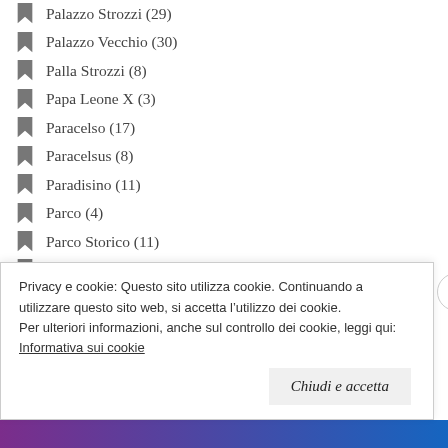Palazzo Strozzi (29)
Palazzo Vecchio (30)
Palla Strozzi (8)
Papa Leone X (3)
Paracelso (17)
Paracelsus (8)
Paradisino (11)
Parco (4)
Parco Storico (11)
Parole ebraiche (10)
Pasqua (1)
Passeggiata Animata (51)
Privacy e cookie: Questo sito utilizza cookie. Continuando a utilizzare questo sito web, si accetta l’utilizzo dei cookie. Per ulteriori informazioni, anche sul controllo dei cookie, leggi qui: Informativa sui cookie
Chiudi e accetta